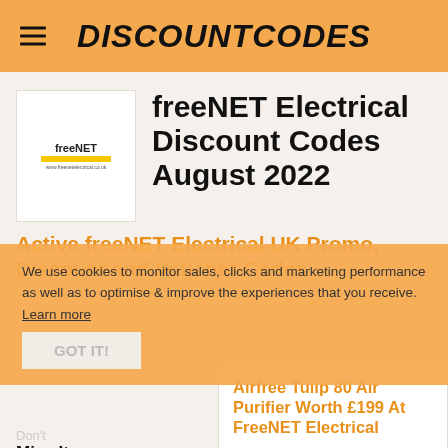DISCOUNTCODES
freeNET Electrical Discount Codes August 2022
[Figure (logo): freeNET Electrical logo — white box with freeNET text in black/yellow branding and yellow bar underline]
Active freeNET Electrical UK Promo, Discount and Voucher Codes
We use cookies to monitor sales, clicks and marketing performance as well as to optimise & improve the experiences that you receive.
Learn more
GOT IT!
Don't
Miss It
Airfree Tulip 80 Air Purifier Worth £199 At FreeNET Electrical